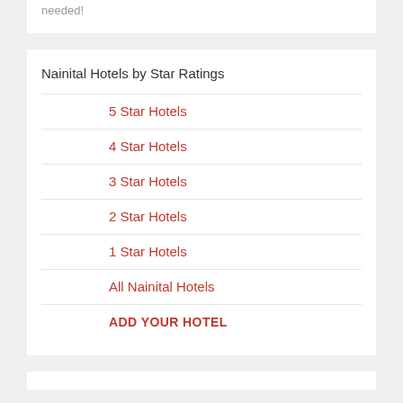needed!
Nainital Hotels by Star Ratings
5 Star Hotels
4 Star Hotels
3 Star Hotels
2 Star Hotels
1 Star Hotels
All Nainital Hotels
ADD YOUR HOTEL